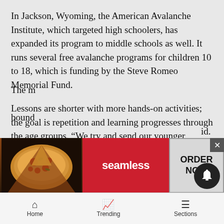In Jackson, Wyoming, the American Avalanche Institute, which targeted high schoolers, has expanded its program to middle schools as well. It runs several free avalanche programs for children 10 to 18, which is funding by the Steve Romeo Memorial Fund.
Lessons are shorter with more hands-on activities; the goal is repetition and learning progresses through the age groups. “We try and send our younger, hipper instructors who are easier to relate to,” said Sarah Carpenter, co-owner and teacher at the American Avalanche Institute.
The m[...] bound[...] id. P[...]
[Figure (screenshot): Advertisement overlay for Seamless food delivery with pizza image on the left, red Seamless brand label in center, and ORDER NOW button on right. A close (x) button is in top-right corner.]
Home   Trending   Sections